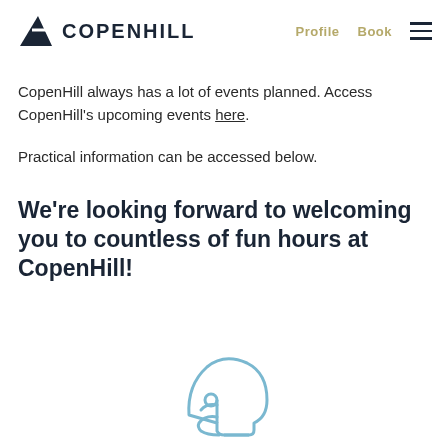COPENHILL   Profile   Book
CopenHill always has a lot of events planned. Access CopenHill's upcoming events here.
Practical information can be accessed below.
We're looking forward to welcoming you to countless of fun hours at CopenHill!
[Figure (illustration): Light blue outline icon of an American football helmet, facing left, with a face guard.]